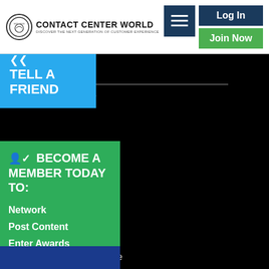Contact Center World | Discover The Next Generation Of Customer Experience
Log In
Join Now
[Figure (screenshot): Hamburger menu icon (three horizontal white lines on dark blue background)]
TELL A FRIEND
Articles
Case Studies
BECOME A MEMBER TODAY TO:
ing
de
ng Academy
Work
Network
Post Content
Enter Awards
+ Much More
cial
erence